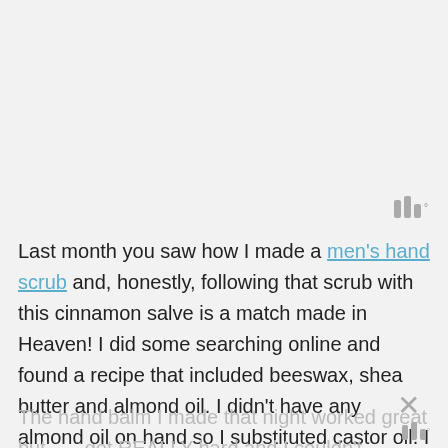[Figure (logo): Three vertical bars of varying height (like a wifi/signal icon) with a degree symbol superscript, in gray]
Last month you saw how I made a men's hand scrub and, honestly, following that scrub with this cinnamon salve is a match made in Heaven! I did some searching online and found a recipe that included beeswax, shea butter and almond oil. I didn't have any almond oil on hand so I substituted castor oil. I made a small tester batch and immediately knew I was going to change some things.
The hand balm I made that night worked great but got REALLY hard and I couldn't understand why coconut